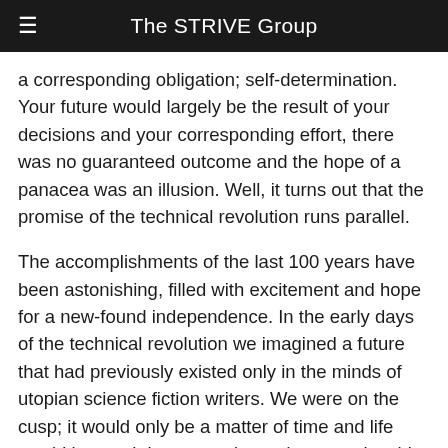The STRIVE Group
a corresponding obligation; self-determination. Your future would largely be the result of your decisions and your corresponding effort, there was no guaranteed outcome and the hope of a panacea was an illusion. Well, it turns out that the promise of the technical revolution runs parallel.
The accomplishments of the last 100 years have been astonishing, filled with excitement and hope for a new-found independence. In the early days of the technical revolution we imagined a future that had previously existed only in the minds of utopian science fiction writers. We were on the cusp; it would only be a matter of time and life would be much better, easier and more enjoyable. Little did we know that graduating into a new paradigm of human existence would come with a commencement of its own.